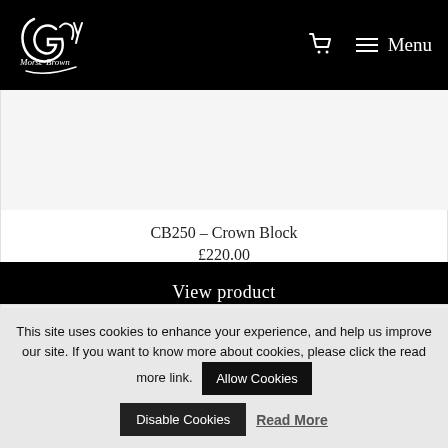Guy Morse-Brown — Menu
[Figure (illustration): Product image area for Crown Block (partially visible, light gray background)]
CB250 – Crown Block
£220.00
View product
[Figure (photo): Second product card partially visible at bottom of page]
This site uses cookies to enhance your experience, and help us improve our site. If you want to know more about cookies, please click the read more link.
Allow Cookies
Disable Cookies
Read More